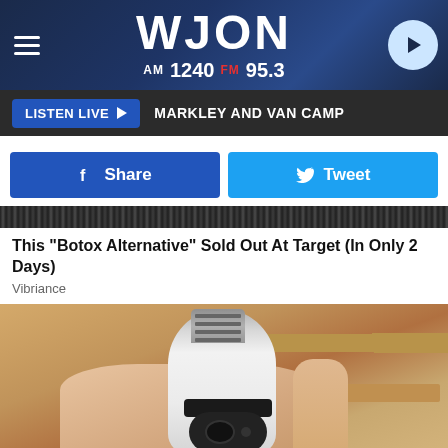WJON AM 1240 FM 95.3
LISTEN LIVE | MARKLEY AND VAN CAMP
[Figure (other): Facebook Share button and Twitter Tweet button]
[Figure (other): Advertisement banner strip]
This "Botox Alternative" Sold Out At Target (In Only 2 Days)
Vibriance
[Figure (photo): A hand holding a white smart light bulb camera device against a wooden shelf background]